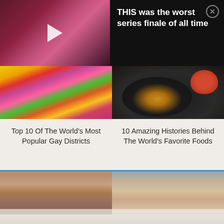[Figure (screenshot): Video thumbnail showing a dark reddish background with a white play button triangle in the center]
THIS was the worst series finale of all time
[Figure (photo): Colorful carnival/festival photo with people in bright feathered costumes]
Top 10 Of The World's Most Popular Gay Districts
[Figure (photo): Dark food photo showing a black plate with pasta dish and tomatoes in background]
10 Amazing Histories Behind The World's Favorite Foods
[Figure (photo): Close-up photo of a person's eyes and nose with glasses]
[Figure (photo): Photo of a shirtless person with mouth open in surprise against light blue background]